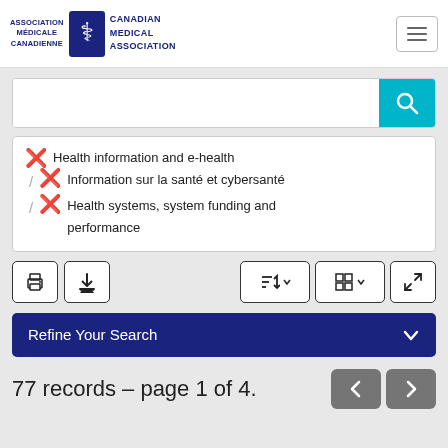[Figure (logo): Canadian Medical Association / Association médicale canadienne logo with caduceus emblem]
[Figure (screenshot): Search input bar with teal search button]
✖ Health information and e-health / ✖ Information sur la santé et cybersanté / ✖ Health systems, system funding and performance
[Figure (screenshot): Toolbar with print, download, sort, view and expand buttons]
Refine Your Search
77 records – page 1 of 4.